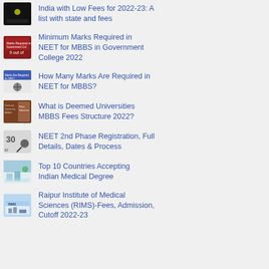India with Low Fees for 2022-23: A list with state and fees
Minimum Marks Required in NEET for MBBS in Government College 2022
How Many Marks Are Required in NEET for MBBS?
What is Deemed Universities MBBS Fees Structure 2022?
NEET 2nd Phase Registration, Full Details, Dates & Process
Top 10 Countries Accepting Indian Medical Degree
Raipur Institute of Medical Sciences (RIMS)-Fees, Admission, Cutoff 2022-23